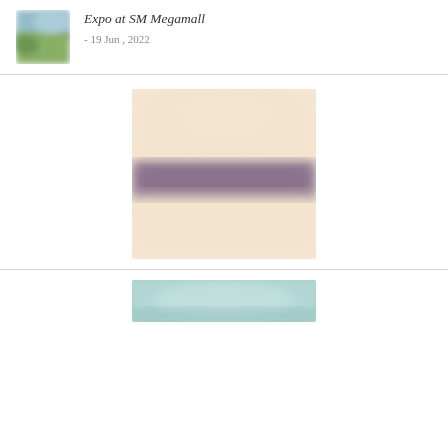Expo at SM Megamall
- 19 Jun , 2022
[Figure (photo): Small blurred thumbnail photo showing outdoor scene with sky and green]
[Figure (photo): Large blurred image with creamy/peach background and a horizontal purple/mauve band in the center]
[Figure (photo): Bottom blurred image showing light teal/blue tones, partially visible]